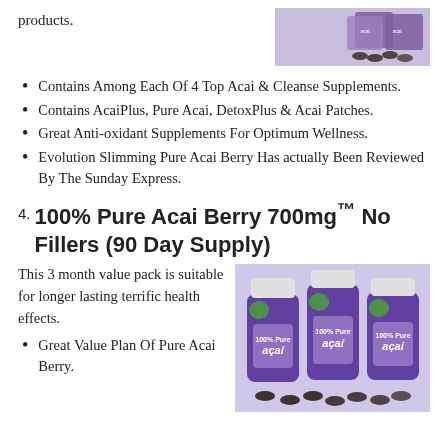products.
[Figure (photo): Acai supplement product boxes and capsules]
Contains Among Each Of 4 Top Acai & Cleanse Supplements.
Contains AcaiPlus, Pure Acai, DetoxPlus & Acai Patches.
Great Anti-oxidant Supplements For Optimum Wellness.
Evolution Slimming Pure Acai Berry Has actually Been Reviewed By The Sunday Express.
4. 100% Pure Acai Berry 700mg™ No Fillers (90 Day Supply)
This 3 month value pack is suitable for longer lasting terrific health effects.
[Figure (photo): Three bottles of 100% Pure Acai Berry supplement with capsules in front]
Great Value Plan Of Pure Acai Berry.